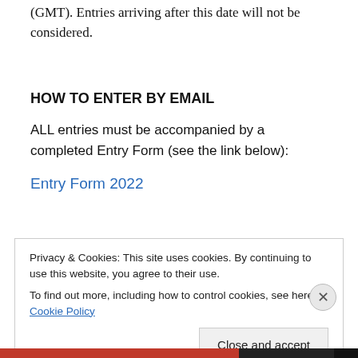(GMT). Entries arriving after this date will not be considered.
HOW TO ENTER BY EMAIL
ALL entries must be accompanied by a completed Entry Form (see the link below):
Entry Form 2022
Privacy & Cookies: This site uses cookies. By continuing to use this website, you agree to their use.
To find out more, including how to control cookies, see here: Cookie Policy
Close and accept